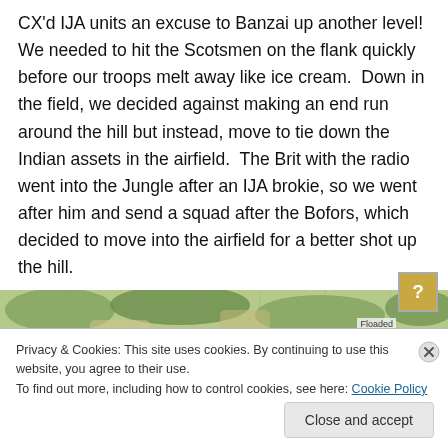CX'd IJA units an excuse to Banzai up another level! We needed to hit the Scotsmen on the flank quickly before our troops melt away like ice cream. Down in the field, we decided against making an end run around the hill but instead, move to tie down the Indian assets in the airfield. The Brit with the radio went into the Jungle after an IJA brokie, so we went after him and send a squad after the Bofors, which decided to move into the airfield for a better shot up the hill.
[Figure (screenshot): Partial screenshot of a map/game image showing a tactical battlefield map with hexagonal tiles, jungle terrain in greens and tans, and a 'Floaded' label visible on the right side. A question mark icon box is visible in the top-right corner.]
Privacy & Cookies: This site uses cookies. By continuing to use this website, you agree to their use.
To find out more, including how to control cookies, see here: Cookie Policy